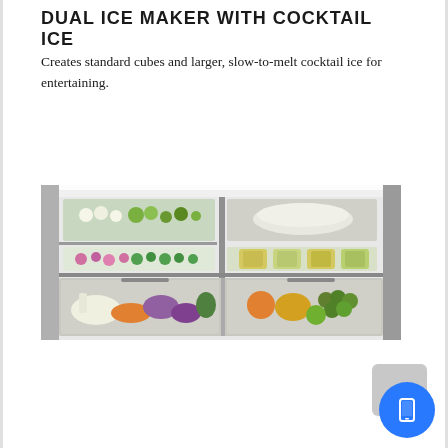DUAL ICE MAKER WITH COCKTAIL ICE
Creates standard cubes and larger, slow-to-melt cocktail ice for entertaining.
[Figure (photo): Interior view of a French door refrigerator showing multiple shelves with organized food items including vegetables, jars of pickled items, eggs, fruits, and various fresh produce in two bottom crisper drawers.]